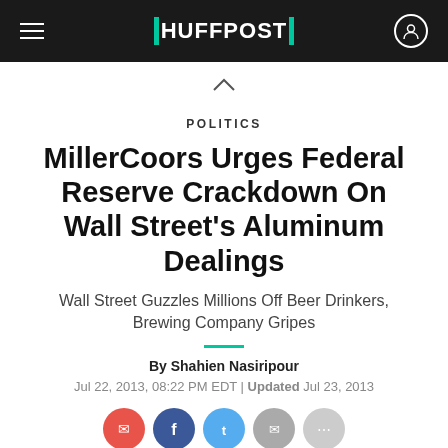HUFFPOST
POLITICS
MillerCoors Urges Federal Reserve Crackdown On Wall Street's Aluminum Dealings
Wall Street Guzzles Millions Off Beer Drinkers, Brewing Company Gripes
By Shahien Nasiripour
Jul 22, 2013, 08:22 PM EDT | Updated Jul 23, 2013